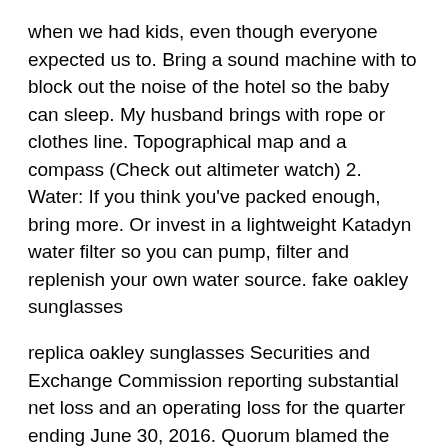when we had kids, even though everyone expected us to. Bring a sound machine with to block out the noise of the hotel so the baby can sleep. My husband brings with rope or clothes line. Topographical map and a compass (Check out altimeter watch) 2. Water: If you think you've packed enough, bring more. Or invest in a lightweight Katadyn water filter so you can pump, filter and replenish your own water source. fake oakley sunglasses
replica oakley sunglasses Securities and Exchange Commission reporting substantial net loss and an operating loss for the quarter ending June 30, 2016. Quorum blamed the loss on impairment charges it had taken, goodwill loss from divesting certain hospitals, and carryover allocation of goodwill at the time of the spin off from CHS. When this information became